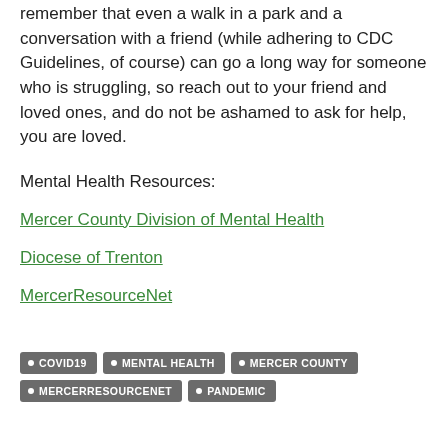remember that even a walk in a park and a conversation with a friend (while adhering to CDC Guidelines, of course) can go a long way for someone who is struggling, so reach out to your friend and loved ones, and do not be ashamed to ask for help, you are loved.
Mental Health Resources:
Mercer County Division of Mental Health
Diocese of Trenton
MercerResourceNet
COVID19
MENTAL HEALTH
MERCER COUNTY
MERCERRESOURCENET
PANDEMIC